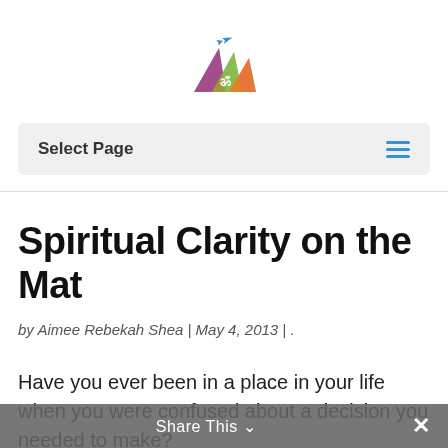[Figure (logo): Colorful pyramid logo with a small airplane, featuring a yoga/Om symbol, rainbow-colored triangular mountain shapes]
Select Page
Spiritual Clarity on the Mat
by Aimee Rebekah Shea | May 4, 2013 | .
Have you ever been in a place in your life when you were confused about a decision you needed to make?
Share This